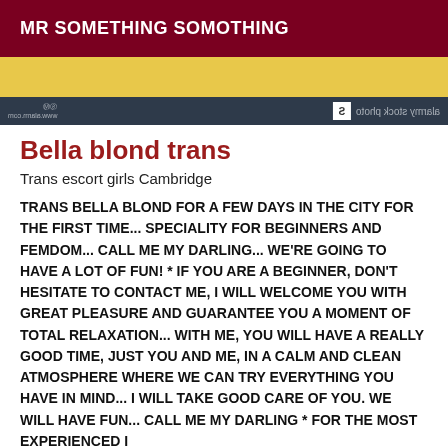MR SOMETHING SOMOTHING
[Figure (photo): Stock photo image partially visible with yellow/gold background, overlaid with a dark navy watermark bar at the bottom showing 'alarmy stock photo' text mirrored and a logo icon]
Bella blond trans
Trans escort girls Cambridge
TRANS BELLA BLOND FOR A FEW DAYS IN THE CITY FOR THE FIRST TIME... SPECIALITY FOR BEGINNERS AND FEMDOM... CALL ME MY DARLING... WE'RE GOING TO HAVE A LOT OF FUN! * IF YOU ARE A BEGINNER, DON'T HESITATE TO CONTACT ME, I WILL WELCOME YOU WITH GREAT PLEASURE AND GUARANTEE YOU A MOMENT OF TOTAL RELAXATION... WITH ME, YOU WILL HAVE A REALLY GOOD TIME, JUST YOU AND ME, IN A CALM AND CLEAN ATMOSPHERE WHERE WE CAN TRY EVERYTHING YOU HAVE IN MIND... I WILL TAKE GOOD CARE OF YOU. WE WILL HAVE FUN... CALL ME MY DARLING * FOR THE MOST EXPERIENCED I